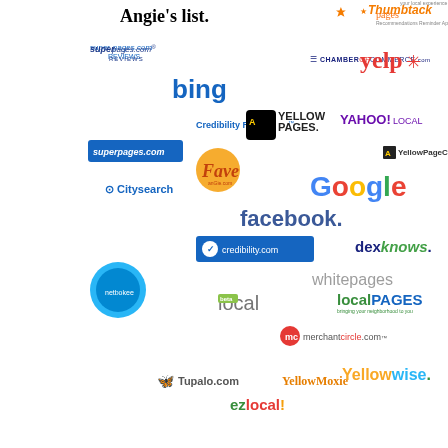[Figure (infographic): Collection of local business directory and review platform logos including Angie's List, Thumbtack, superpages.com, pages (Recommendations Reminder App), Yelp, ChamberOfCommerce.com, Bing, Credibility Review, Yellow Pages, Yahoo Local, superpages.com (blue), Fave, YellowPageCity, Citysearch, Google, facebook, credibility.com, dexknows, netbookee, local, whitepages, LocalPAGES, merchantcircle.com, Tupalo.com, YellowMoxie, Yellowise, EZlocal]